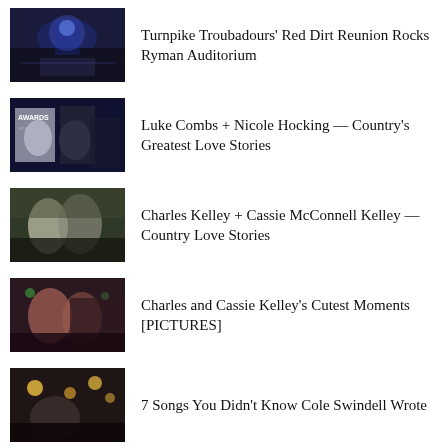Turnpike Troubadours' Red Dirt Reunion Rocks Ryman Auditorium
Luke Combs + Nicole Hocking — Country's Greatest Love Stories
Charles Kelley + Cassie McConnell Kelley — Country Love Stories
Charles and Cassie Kelley's Cutest Moments [PICTURES]
7 Songs You Didn't Know Cole Swindell Wrote